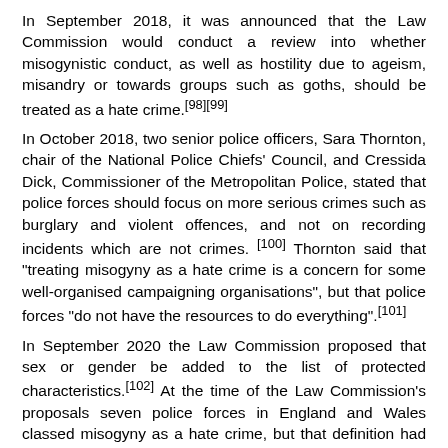In September 2018, it was announced that the Law Commission would conduct a review into whether misogynistic conduct, as well as hostility due to ageism, misandry or towards groups such as goths, should be treated as a hate crime.[98][99]
In October 2018, two senior police officers, Sara Thornton, chair of the National Police Chiefs' Council, and Cressida Dick, Commissioner of the Metropolitan Police, stated that police forces should focus on more serious crimes such as burglary and violent offences, and not on recording incidents which are not crimes. [100] Thornton said that "treating misogyny as a hate crime is a concern for some well-organised campaigning organisations", but that police forces "do not have the resources to do everything".[101]
In September 2020 the Law Commission proposed that sex or gender be added to the list of protected characteristics.[102] At the time of the Law Commission's proposals seven police forces in England and Wales classed misogyny as a hate crime, but that definition had not been adopted across the board. The commission plans to make its official recommendations to the government in 2021.[103]
A Home Office spokesperson in October 2021 stated...